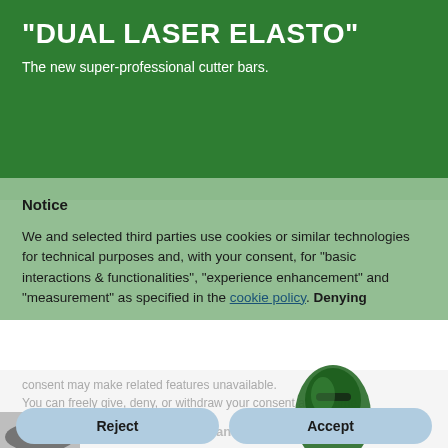"DUAL LASER ELASTO"
The new super-professional cutter bars.
Notice
We and selected third parties use cookies or similar technologies for technical purposes and, with your consent, for "basic interactions & functionalities", "experience enhancement" and "measurement" as specified in the cookie policy. Denying consent may make related features unavailable.
You can freely give, deny, or withdraw your consent at any time.
[Figure (photo): Green power tool / chainsaw guide bar product photo overlapping the cookie notice overlay]
[Figure (photo): Partial product image at bottom left corner]
Reject
Accept
Learn more and customize